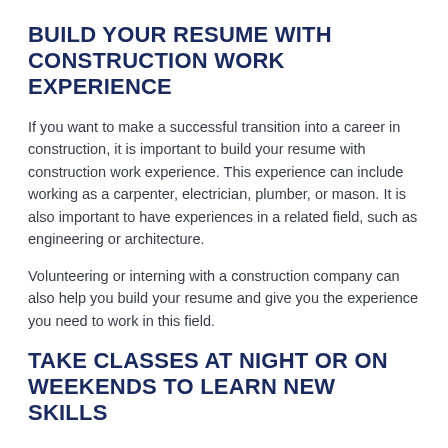BUILD YOUR RESUME WITH CONSTRUCTION WORK EXPERIENCE
If you want to make a successful transition into a career in construction, it is important to build your resume with construction work experience. This experience can include working as a carpenter, electrician, plumber, or mason. It is also important to have experiences in a related field, such as engineering or architecture.
Volunteering or interning with a construction company can also help you build your resume and give you the experience you need to work in this field.
TAKE CLASSES AT NIGHT OR ON WEEKENDS TO LEARN NEW SKILLS